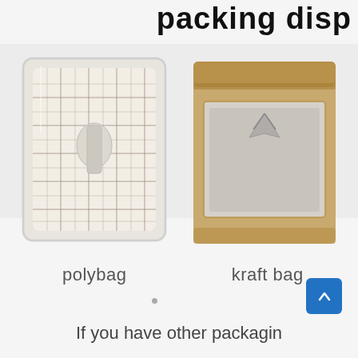packing disp
[Figure (photo): Two clothing packaging options shown side by side: left shows a clear polybag with a plaid shirt inside, right shows a kraft paper bag with a window revealing a grey folded garment inside.]
polybag
kraft bag
If you have other packagin